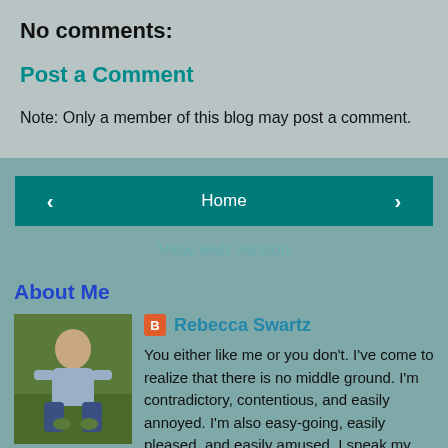No comments:
Post a Comment
Note: Only a member of this blog may post a comment.
Home
View web version
About Me
[Figure (photo): Profile photo of Rebecca Swartz, person crouching outdoors on grass]
Rebecca Swartz
You either like me or you don't. I've come to realize that there is no middle ground. I'm contradictory, contentious, and easily annoyed. I'm also easy-going, easily pleased, and easily amused. I speak my mind. You're invited to do the same. All I ask of you is honesty. Always that.
View my complete profile